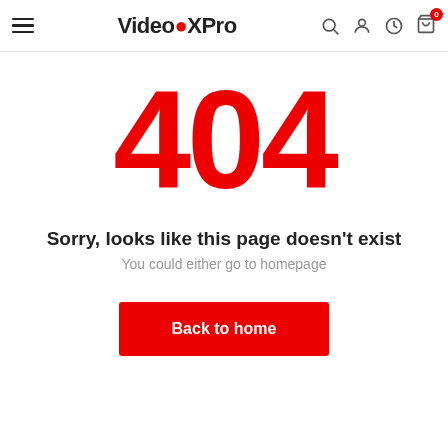VideoXPro — navigation header with hamburger menu, logo, search, account, history, and cart icons
404
Sorry, looks like this page doesn't exist
You could either go to homepage
Back to home